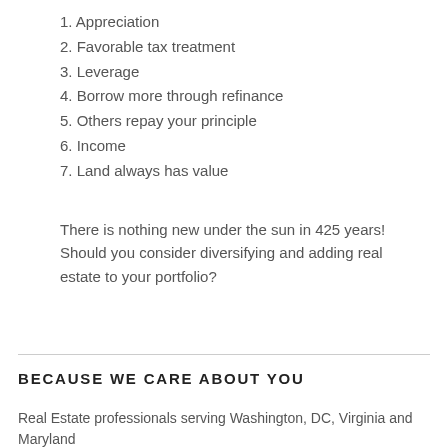1. Appreciation
2. Favorable tax treatment
3. Leverage
4. Borrow more through refinance
5. Others repay your principle
6. Income
7. Land always has value
There is nothing new under the sun in 425 years!  Should you consider diversifying and adding real estate to your portfolio?
BECAUSE WE CARE ABOUT YOU
Real Estate professionals serving Washington, DC, Virginia and Maryland